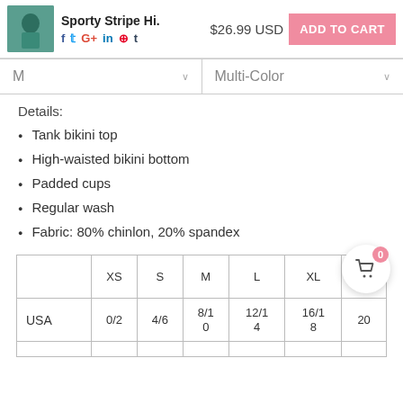Sporty Stripe Hi. $26.99 USD ADD TO CART
M | Multi-Color
Details:
Tank bikini top
High-waisted bikini bottom
Padded cups
Regular wash
Fabric: 80% chinlon, 20% spandex
|  | XS | S | M | L | XL | XXL |
| --- | --- | --- | --- | --- | --- | --- |
| USA | 0/2 | 4/6 | 8/10 | 12/14 | 16/18 | 20 |